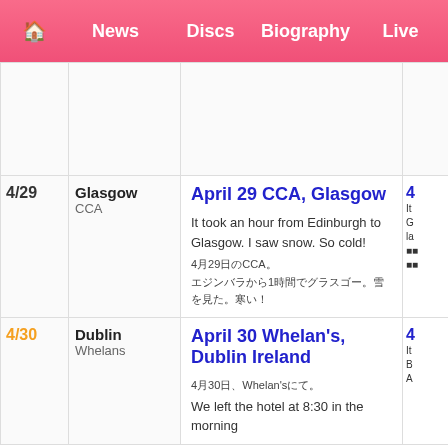Home | News | Discs | Biography | Live
| Date | Venue | Entry | Extra |
| --- | --- | --- | --- |
|  |  |  |  |
| 4/29 | Glasgow
CCA | April 29 CCA, Glasgow

It took an hour from Edinburgh to Glasgow. I saw snow. So cold!
4月29日のCCA。
エジンバラから1時間でグラスゴー。雪を見た。寒い！ | 4... |
| 4/30 | Dublin
Whelans | April 30 Whelan's, Dublin Ireland

4月30日、Whelan'sにて。
We left the hotel at 8:30 in the morning | 4... |